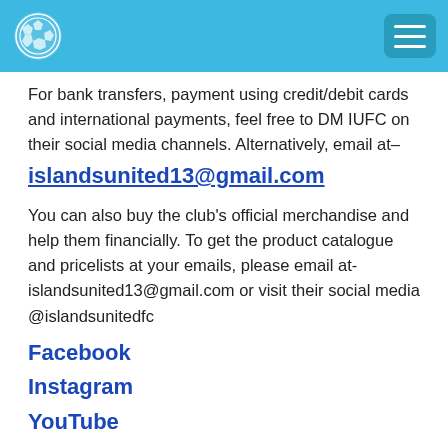IUFC logo and navigation menu
For bank transfers, payment using credit/debit cards and international payments, feel free to DM IUFC on their social media channels. Alternatively, email at– islandsunited13@gmail.com
You can also buy the club's official merchandise and help them financially. To get the product catalogue and pricelists at your emails, please email at- islandsunited13@gmail.com or visit their social media @islandsunitedfc
Facebook
Instagram
YouTube